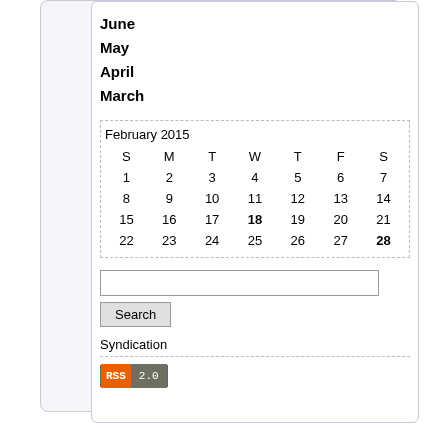June
May
April
March
| S | M | T | W | T | F | S |
| --- | --- | --- | --- | --- | --- | --- |
| 1 | 2 | 3 | 4 | 5 | 6 | 7 |
| 8 | 9 | 10 | 11 | 12 | 13 | 14 |
| 15 | 16 | 17 | 18 | 19 | 20 | 21 |
| 22 | 23 | 24 | 25 | 26 | 27 | 28 |
Search
Syndication
[Figure (other): RSS 2.0 feed badge]